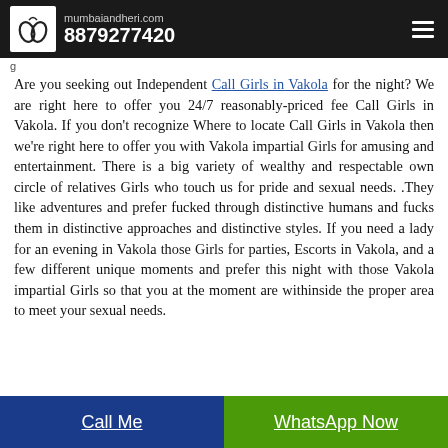mumbaiandheri.com 8879277420
Are you seeking out Independent Call Girls in Vakola for the night? We are right here to offer you 24/7 reasonably-priced fee Call Girls in Vakola. If you don't recognize Where to locate Call Girls in Vakola then we're right here to offer you with Vakola impartial Girls for amusing and entertainment. There is a big variety of wealthy and respectable own circle of relatives Girls who touch us for pride and sexual needs. .They like adventures and prefer fucked through distinctive humans and fucks them in distinctive approaches and distinctive styles. If you need a lady for an evening in Vakola those Girls for parties, Escorts in Vakola, and a few different unique moments and prefer this night with those Vakola impartial Girls so that you at the moment are withinside the proper area to meet your sexual needs.
Call Me | WhatsApp Now